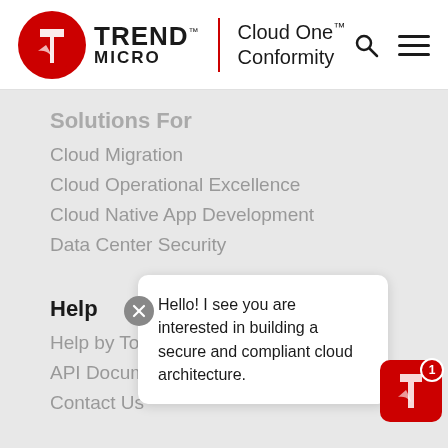[Figure (logo): Trend Micro logo with red stylized globe icon, TREND MICRO brand name, vertical red divider line, and Cloud One Conformity product name]
Solutions For
Cloud Migration
Cloud Operational Excellence
Cloud Native App Development
Data Center Security
Help
Help by Topic
API Documentation
Contact Us
Company
About Us
Careers
Hello! I see you are interested in building a secure and compliant cloud architecture.